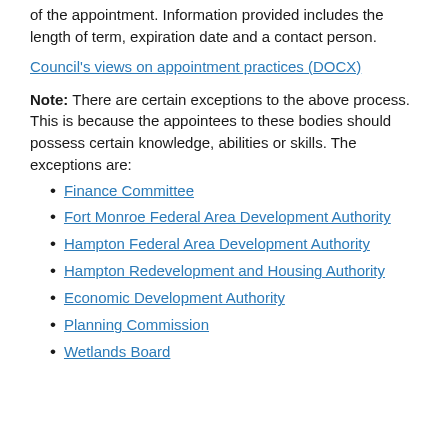of the appointment. Information provided includes the length of term, expiration date and a contact person.
Council's views on appointment practices (DOCX)
Note: There are certain exceptions to the above process. This is because the appointees to these bodies should possess certain knowledge, abilities or skills. The exceptions are:
Finance Committee
Fort Monroe Federal Area Development Authority
Hampton Federal Area Development Authority
Hampton Redevelopment and Housing Authority
Economic Development Authority
Planning Commission
Wetlands Board